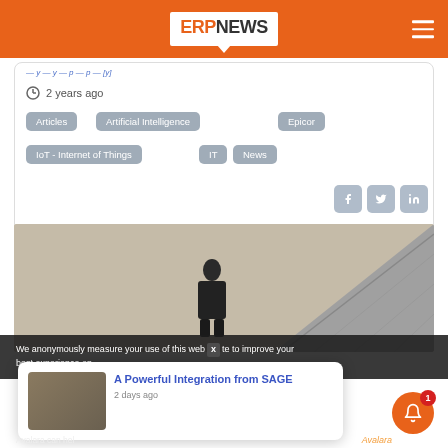ERP NEWS
2 years ago
Articles
Artificial Intelligence
Epicor
IoT - Internet of Things
IT
News
[Figure (photo): Person standing near stairs in a beige/grey interior]
We anonymously measure your use of this web site to improve your best experience on
A Powerful Integration from SAGE
2 days ago